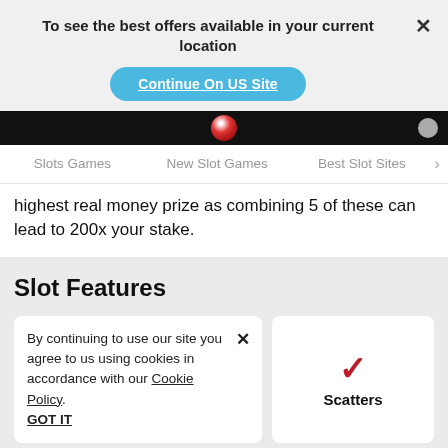To see the best offers available in your current location
Continue On US Site
Slots Games   New Slot Games   Best Slot Sites
highest real money prize as combining 5 of these can lead to 200x your stake.
Slot Features
By continuing to use our site you agree to us using cookies in accordance with our Cookie Policy.
GOT IT
Scatters